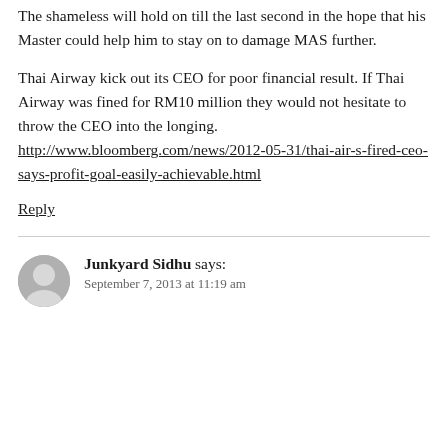The shameless will hold on till the last second in the hope that his Master could help him to stay on to damage MAS further.
Thai Airway kick out its CEO for poor financial result. If Thai Airway was fined for RM10 million they would not hesitate to throw the CEO into the longing. http://www.bloomberg.com/news/2012-05-31/thai-air-s-fired-ceo-says-profit-goal-easily-achievable.html
Reply
Junkyard Sidhu says:
September 7, 2013 at 11:19 am